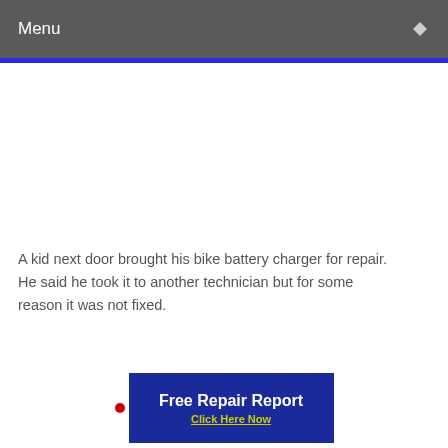Menu
A kid next door brought his bike battery charger for repair. He said he took it to another technician but for some reason it was not fixed.
[Figure (infographic): Blue banner advertisement reading 'Free Repair Report' with 'Click Here Now' in yellow underlined text below, with a red dot bullet to the left]